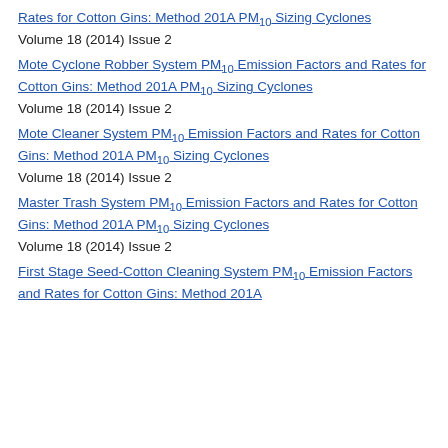Rates for Cotton Gins: Method 201A PM10 Sizing Cyclones
Volume 18 (2014) Issue 2
Mote Cyclone Robber System PM10 Emission Factors and Rates for Cotton Gins: Method 201A PM10 Sizing Cyclones
Volume 18 (2014) Issue 2
Mote Cleaner System PM10 Emission Factors and Rates for Cotton Gins: Method 201A PM10 Sizing Cyclones
Volume 18 (2014) Issue 2
Master Trash System PM10 Emission Factors and Rates for Cotton Gins: Method 201A PM10 Sizing Cyclones
Volume 18 (2014) Issue 2
First Stage Seed-Cotton Cleaning System PM10 Emission Factors and Rates for Cotton Gins: Method 201A